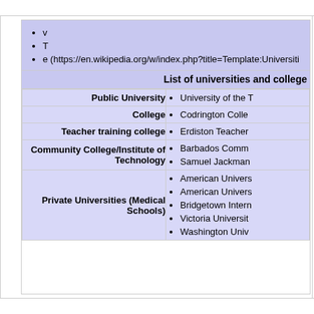v
T
e (https://en.wikipedia.org/w/index.php?title=Template:Universiti
List of universities and colleges
| Category | Institutions |
| --- | --- |
| Public University | University of the... |
| College | Codrington Colle... |
| Teacher training college | Erdiston Teacher... |
| Community College/Institute of Technology | Barbados Comm...
Samuel Jackman... |
| Private Universities (Medical Schools) | American Univers...
American Univers...
Bridgetown Intern...
Victoria Universit...
Washington Univ... |